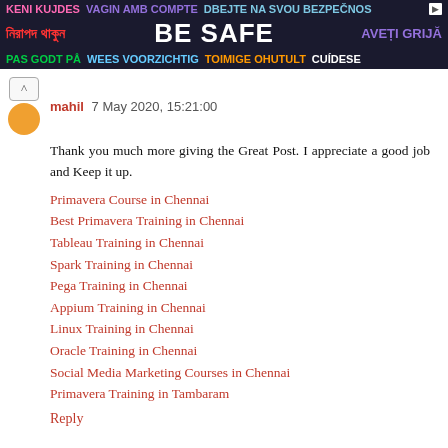[Figure (infographic): Multilingual 'Be Safe' public health banner with text in multiple languages including Bengali, English, Romanian, Norwegian, Dutch, Estonian, Spanish, and others on dark background]
mahil 7 May 2020, 15:21:00
Thank you much more giving the Great Post. I appreciate a good job and Keep it up.
Primavera Course in Chennai
Best Primavera Training in Chennai
Tableau Training in Chennai
Spark Training in Chennai
Pega Training in Chennai
Appium Training in Chennai
Linux Training in Chennai
Oracle Training in Chennai
Social Media Marketing Courses in Chennai
Primavera Training in Tambaram
Reply